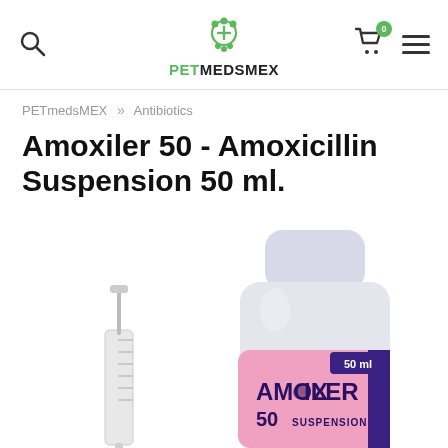PETmedsMEX — navigation header with search, logo, cart (0), and menu icons
PETmedsMEX » Antibiotics
Amoxiler 50 - Amoxicillin Suspension 50 ml.
[Figure (photo): Product photo of Amoxiler 50 Amoxicillin Suspension 50 ml bottle with a dosing syringe in front, showing pink label with 'AMOXILER 50 SUSPENSION' and '50 ml' on a white background.]